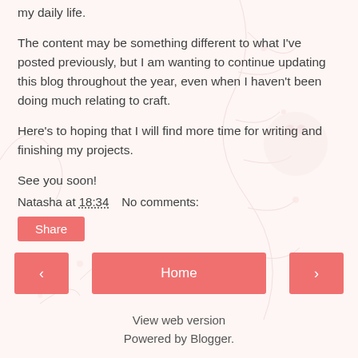my daily life.
The content may be something different to what I've posted previously, but I am wanting to continue updating this blog throughout the year, even when I haven't been doing much relating to craft.
Here's to hoping that I will find more time for writing and finishing my projects.
See you soon!
Natasha at 18:34    No comments:
Share
‹  Home  ›
View web version
Powered by Blogger.